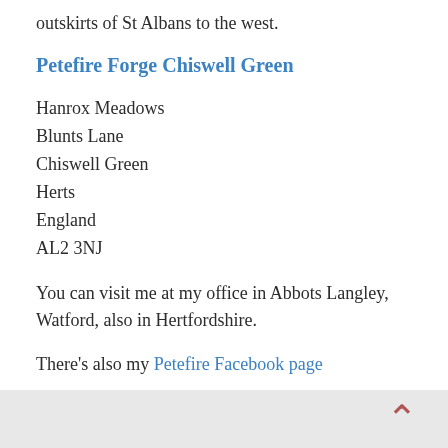outskirts of St Albans to the west.
Petefire Forge Chiswell Green
Hanrox Meadows
Blunts Lane
Chiswell Green
Herts
England
AL2 3NJ
You can visit me at my office in Abbots Langley, Watford, also in Hertfordshire.
There's also my Petefire Facebook page
... and my Linkedin page